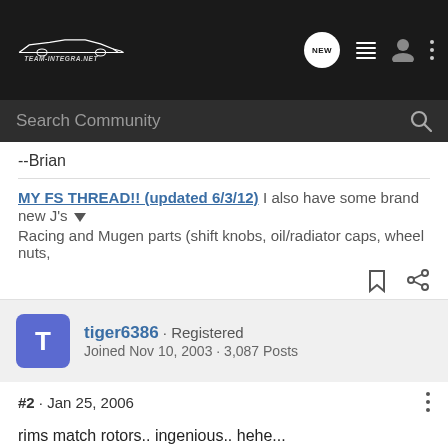Team-Integra.net | NEW | menu | user | options
Search Community
--Brian
MY FS THREAD!! (updated 6/3/12) I also have some brand new J's Racing and Mugen parts (shift knobs, oil/radiator caps, wheel nuts,
tiger6386 · Registered
Joined Nov 10, 2003 · 3,087 Posts
#2 · Jan 25, 2006
rims match rotors.. ingenious.. hehe...